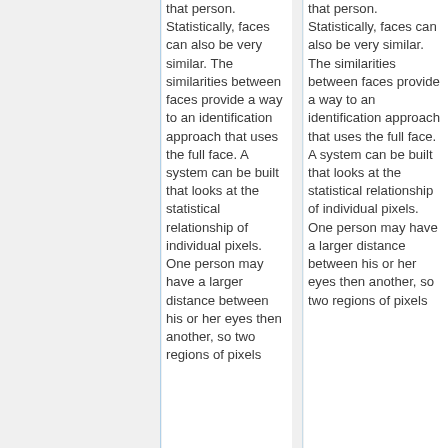that person. Statistically, faces can also be very similar. The similarities between faces provide a way to an identification approach that uses the full face. A system can be built that looks at the statistical relationship of individual pixels. One person may have a larger distance between his or her eyes then another, so two regions of pixels
that person. Statistically, faces can also be very similar. The similarities between faces provide a way to an identification approach that uses the full face. A system can be built that looks at the statistical relationship of individual pixels. One person may have a larger distance between his or her eyes then another, so two regions of pixels